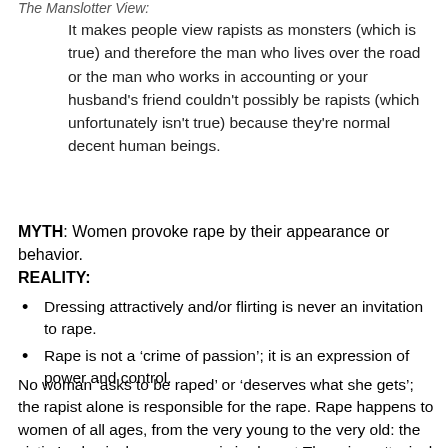The Manslotter View:
It makes people view rapists as monsters (which is true) and therefore the man who lives over the road or the man who works in accounting or your husband's friend couldn't possibly be rapists (which unfortunately isn't true) because they're normal decent human beings.
MYTH: Women provoke rape by their appearance or behavior.
REALITY:
Dressing attractively and/or flirting is never an invitation to rape.
Rape is not a ‘crime of passion’; it is an expression of power and control.
No woman ‘asks to be raped’ or ‘deserves what she gets’; the rapist alone is responsible for the rape. Rape happens to women of all ages, from the very young to the very old: the victim’s physical appearance is irrelevant.There is no ‘typical rape victim’.